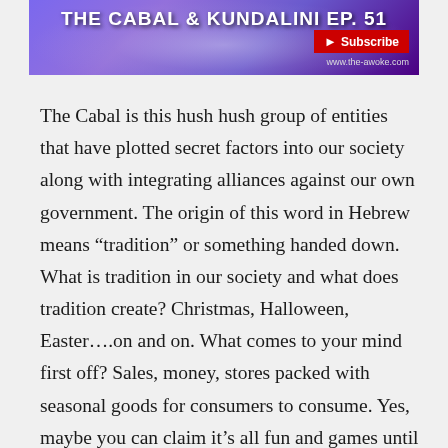[Figure (illustration): Banner image with purple/blue floral abstract background, bold white title text partially visible, a red Subscribe button with arrow, and website URL www.the-awoke.com]
The Cabal is this hush hush group of entities that have plotted secret factors into our society along with integrating alliances against our own government. The origin of this word in Hebrew means “tradition” or something handed down. What is tradition in our society and what does tradition create? Christmas, Halloween, Easter….on and on. What comes to your mind first off? Sales, money, stores packed with seasonal goods for consumers to consume. Yes, maybe you can claim it’s all fun and games until that is you have a Kundalini awakening.